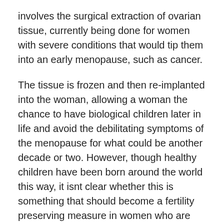involves the surgical extraction of ovarian tissue, currently being done for women with severe conditions that would tip them into an early menopause, such as cancer.
The tissue is frozen and then re-implanted into the woman, allowing a woman the chance to have biological children later in life and avoid the debilitating symptoms of the menopause for what could be another decade or two. However, though healthy children have been born around the world this way, it isnt clear whether this is something that should become a fertility preserving measure in women who are not at risk of an early menopause.
The key is to consider your fertility from earlier in life and to discuss it with your doctor, to help you make the best decisions.